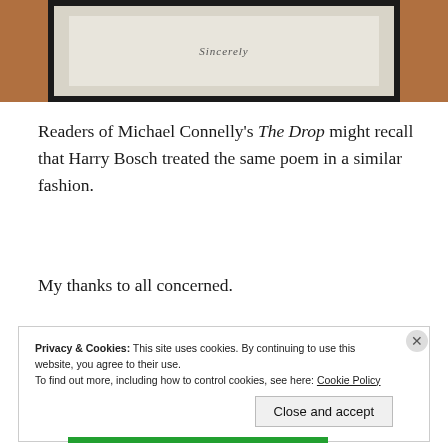[Figure (photo): A framed document or signed paper displayed in a dark frame against a wooden/orange background, partially cropped showing only the bottom portion of the frame.]
Readers of Michael Connelly's The Drop might recall that Harry Bosch treated the same poem in a similar fashion.
My thanks to all concerned.
Privacy & Cookies: This site uses cookies. By continuing to use this website, you agree to their use.
To find out more, including how to control cookies, see here: Cookie Policy
Close and accept